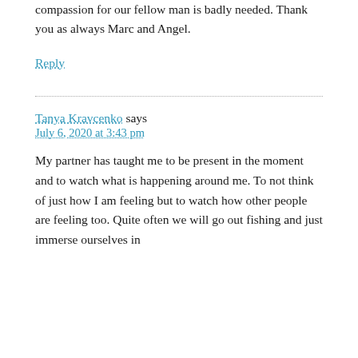compassion for our fellow man is badly needed. Thank you as always Marc and Angel.
Reply
Tanya Kravcenko says
July 6, 2020 at 3:43 pm
My partner has taught me to be present in the moment and to watch what is happening around me. To not think of just how I am feeling but to watch how other people are feeling too. Quite often we will go out fishing and just immerse ourselves in the surroundings and whatever is going on...